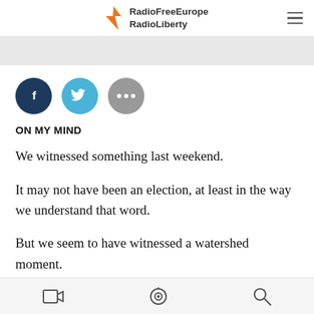RadioFreeEurope RadioLiberty
[Figure (other): Gray banner/advertisement area]
[Figure (other): Social sharing buttons: Facebook (dark blue circle with f), Twitter (light blue circle with bird icon), More (gray circle with three dots)]
ON MY MIND
We witnessed something last weekend.
It may not have been an election, at least in the way we understand that word.
But we seem to have witnessed a watershed moment.
Video | Podcast | Search icons